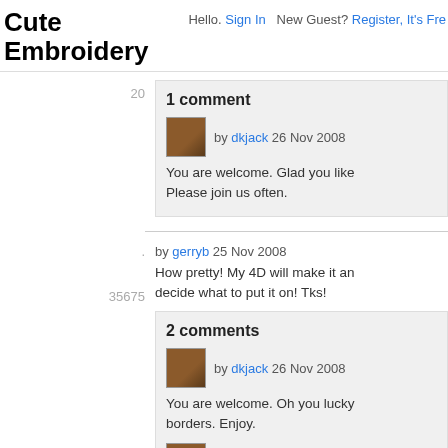Cute Embroidery
Hello. Sign In   New Guest? Register, It's Free
20
1 comment
by dkjack 26 Nov 2008
You are welcome. Glad you like Please join us often.
by gerryb 25 Nov 2008
35675
How pretty! My 4D will make it and decide what to put it on! Tks!
2 comments
by dkjack 26 Nov 2008
You are welcome. Oh you lucky borders. Enjoy.
by dkjack 26 Nov 2008
I want to do a sheets and pillow...